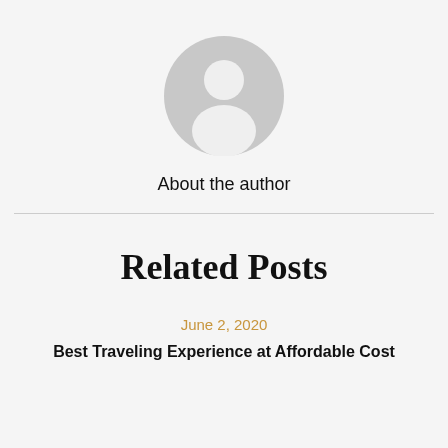[Figure (illustration): Circular gray placeholder avatar icon showing a generic person silhouette (head and shoulders) in light gray on a slightly darker gray circle background]
About the author
Related Posts
June 2, 2020
Best Traveling Experience at Affordable Cost